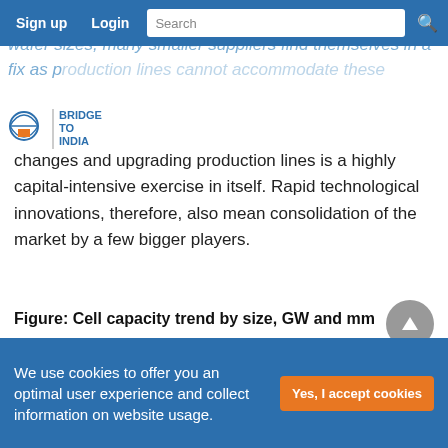Sign up | Login | Search
With ongoing innovations and rapidly evolving cell and wafer sizes, many smaller suppliers find themselves in a fix as production lines cannot accommodate these changes and upgrading production lines is a highly capital-intensive exercise in itself. Rapid technological innovations, therefore, also mean consolidation of the market by a few bigger players.
Figure: Cell capacity trend by size, GW and mm
[Figure (bar-chart): Cell capacity trend by size, GW and mm]
We use cookies to offer you an optimal user experience and collect information on website usage.